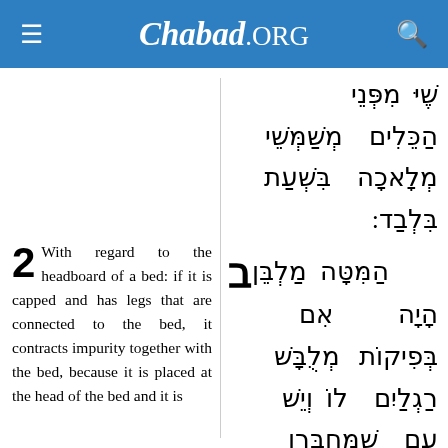Chabad.ORG
Hebrew text (continuation): משמשי הכלים בשעת מלאכה בלבד:
2 With regard to the headboard of a bed: if it is capped and has legs that are connected to the bed, it contracts impurity together with the bed, because it is placed at the head of the bed and it is
Hebrew text (section 2): ב מלבן המטה אם היה מלבש בפיקות ויש לו רגלים שמחברן עם